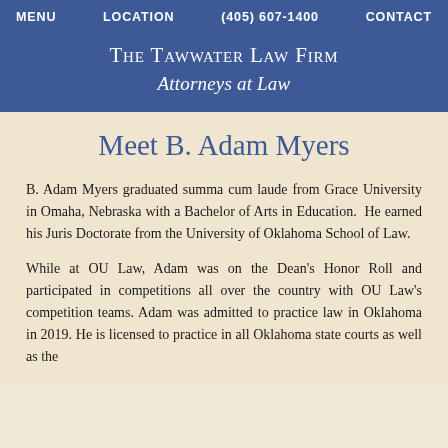MENU   LOCATION   (405) 607-1400   CONTACT
The Tawwater Law Firm — Attorneys at Law
Meet B. Adam Myers
B. Adam Myers graduated summa cum laude from Grace University in Omaha, Nebraska with a Bachelor of Arts in Education.  He earned his Juris Doctorate from the University of Oklahoma School of Law.
While at OU Law, Adam was on the Dean's Honor Roll and participated in competitions all over the country with OU Law's competition teams. Adam was admitted to practice law in Oklahoma in 2019. He is licensed to practice in all Oklahoma state courts as well as the